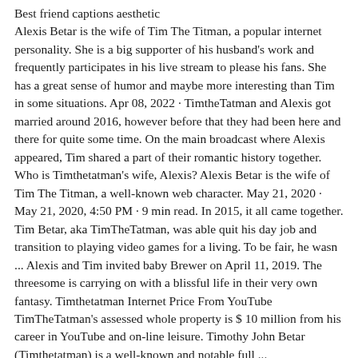Best friend captions aesthetic
Alexis Betar is the wife of Tim The Titman, a popular internet personality. She is a big supporter of his husband's work and frequently participates in his live stream to please his fans. She has a great sense of humor and maybe more interesting than Tim in some situations. Apr 08, 2022 · TimtheTatman and Alexis got married around 2016, however before that they had been here and there for quite some time. On the main broadcast where Alexis appeared, Tim shared a part of their romantic history together. Who is Timthetatman's wife, Alexis? Alexis Betar is the wife of Tim The Titman, a well-known web character. May 21, 2020 · May 21, 2020, 4:50 PM · 9 min read. In 2015, it all came together. Tim Betar, aka TimTheTatman, was able quit his day job and transition to playing video games for a living. To be fair, he wasn ... Alexis and Tim invited baby Brewer on April 11, 2019. The threesome is carrying on with a blissful life in their very own fantasy. Timthetatman Internet Price From YouTube TimTheTatman's assessed whole property is $ 10 million from his career in YouTube and on-line leisure. Timothy John Betar (Timthetatman) is a well-known and notable full ... TimTheTatman is represented by Endeavor Group Holdings. Build. Average. Height. 6 ft or 183 cm. Weight. 98 kg or 216 lbs. Girlfriend / Spouse. TimTheTatman has dated – Alexis (2016-Present) – Alexis got married to his now-wife Alexis in August 2016. The couple had their first child, a boy named Brewer on April 11, 2019. But who is Timthetatman's wife